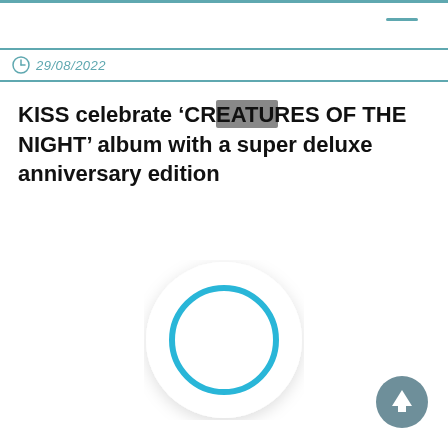29/08/2022
KISS celebrate ‘CREATURES OF THE NIGHT’ album with a super deluxe anniversary edition
[Figure (other): Loading spinner / circular progress indicator with blue ring on white circular button background]
[Figure (other): Back to top button: gray circle with white upward arrow]